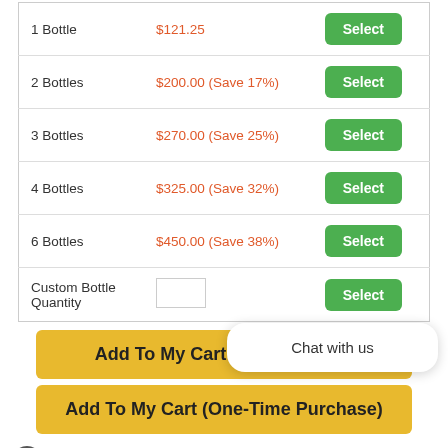| Quantity | Price | Action |
| --- | --- | --- |
| 1 Bottle | $121.25 | Select |
| 2 Bottles | $200.00 (Save 17%) | Select |
| 3 Bottles | $270.00 (Save 25%) | Select |
| 4 Bottles | $325.00 (Save 32%) | Select |
| 6 Bottles | $450.00 (Save 38%) | Select |
| Custom Bottle Quantity |  | Select |
Add To My Cart (AutoReorder)
Add To My Cart (One-Time Purchase)
Product Information
Chat with us
Product Summary